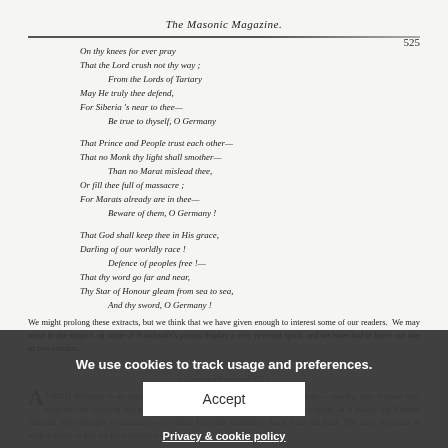The Masonic Magazine.    525
On thy knees for ever pray
That the Lord crush not thy way ;
    From the Lords of Tartary
May He truly thee defend,
For Siberia 's near to thee—
    Be true to thyself, O Germany

That Prince and People trust each other—
That no Monk thy light shall smother—
    Than no Marat mislead thee,
Or fill thee full of massacre ;
For Marats already are in thee—
    Beware of them, O Germany !

That God shall keep thee in His grace,
Darling of our worldly race !
    Defence of peoples free !—
That thy word go far and near,
Thy Star of Honour gleam from sea to sea,
    And thy sword, O Germany !
We might prolong these extracts, but we think that we have given enough to interest some of our readers.  We may recur to the subject, as some of Strachwitz's poems display a very reverent spirit, and we have had to leave out one or two extracts.
We use cookies to track usage and preferences.
THE TRUE HISTORY OF FREEMASONRY IN ENGLAND.
( Continued from page 473.)
A THIRD difficulty is an opposing theory which commends itself to some minds— namely, that of those who supposed the teaching and mysteries of Masonry, having borrowed from the Pagans, as it mainly the Knights Templar, who brought Freemasonry—or rather Egyptian traditions—back from the East. The only objection to such a theory is that we have evidence that